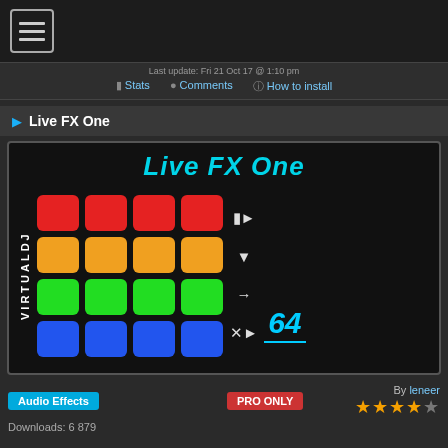[Figure (screenshot): Hamburger menu icon button with three horizontal lines in a rounded rectangle border]
Last update: Fri 21 Oct 17 @ 1:10 pm
Stats   Comments   How to install
Live FX One
[Figure (screenshot): Live FX One plugin preview showing a 4x4 grid of colored pads (red, orange, green, blue rows) with control icons and the number 64 in cyan, VIRTUALDJ watermark on left side]
Audio Effects   PRO ONLY
By leneer
Downloads: 6 879